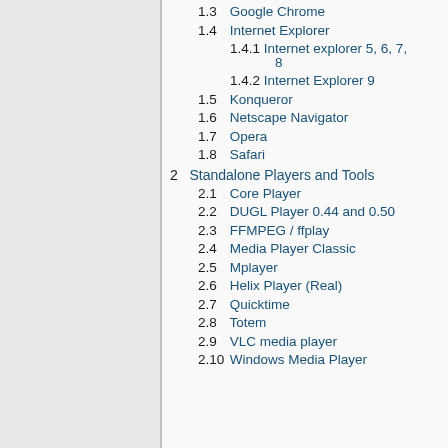1.3 Google Chrome
1.4 Internet Explorer
1.4.1 Internet explorer 5, 6, 7, 8
1.4.2 Internet Explorer 9
1.5 Konqueror
1.6 Netscape Navigator
1.7 Opera
1.8 Safari
2 Standalone Players and Tools
2.1 Core Player
2.2 DUGL Player 0.44 and 0.50
2.3 FFMPEG / ffplay
2.4 Media Player Classic
2.5 Mplayer
2.6 Helix Player (Real)
2.7 Quicktime
2.8 Totem
2.9 VLC media player
2.10 Windows Media Player